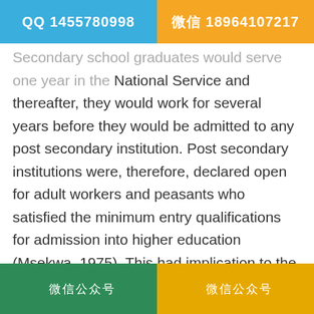QQ 1455780998 | 微信 18964107217
Secondary school graduates would serve one year in the National Service and thereafter, they would work for several years before they would be admitted to any post secondary institution. Post secondary institutions were, therefore, declared open for adult workers and peasants who satisfied the minimum entry qualifications for admission into higher education (Msekwa, 1975). This had implication to the primary education. Owing to the fact that only few candidates were selected to join the secondary school education, and because the secondary school level was meant to prepare the few selected graduates for work, the primary education (which was for all) was designed to prepare citizens for work both in the formal and informal sectors.
微信公众号 | 微信公众号